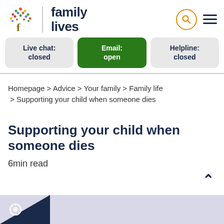[Figure (logo): Family Lives logo with colorful tree and bold text 'family lives']
Live chat: closed
Email: open
Helpline: closed
Homepage > Advice > Your family > Family life > Supporting your child when someone dies
Supporting your child when someone dies
6min read